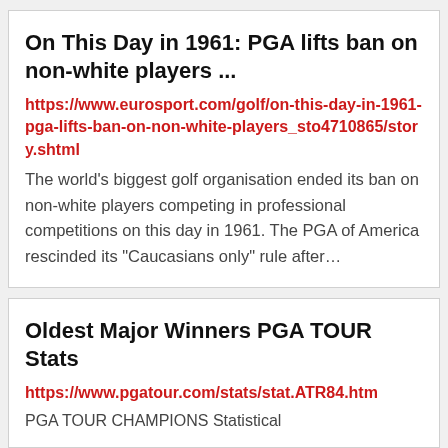On This Day in 1961: PGA lifts ban on non-white players ...
https://www.eurosport.com/golf/on-this-day-in-1961-pga-lifts-ban-on-non-white-players_sto4710865/story.shtml
The world’s biggest golf organisation ended its ban on non-white players competing in professional competitions on this day in 1961. The PGA of America rescinded its “Caucasians only” rule after…
Oldest Major Winners PGA TOUR Stats
https://www.pgatour.com/stats/stat.ATR84.htm
PGA TOUR CHAMPIONS Statistical